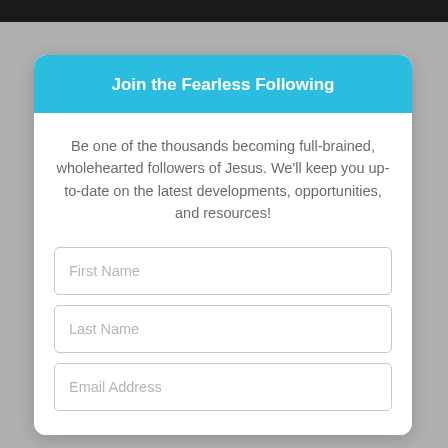Join the Fearless Following
Be one of the thousands becoming full-brained, wholehearted followers of Jesus. We'll keep you up-to-date on the latest developments, opportunities, and resources!
First Name
Last Name
Email Address